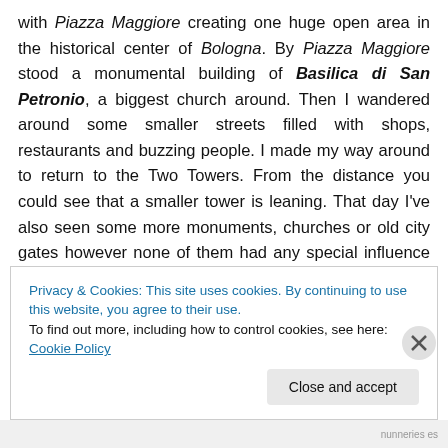with Piazza Maggiore creating one huge open area in the historical center of Bologna. By Piazza Maggiore stood a monumental building of Basilica di San Petronio, a biggest church around. Then I wandered around some smaller streets filled with shops, restaurants and buzzing people. I made my way around to return to the Two Towers. From the distance you could see that a smaller tower is leaning. That day I've also seen some more monuments, churches or old city gates however none of them had any special influence on my trip. I mean they were pleasant to look at but didn't carve into my memories
Privacy & Cookies: This site uses cookies. By continuing to use this website, you agree to their use.
To find out more, including how to control cookies, see here: Cookie Policy
Close and accept